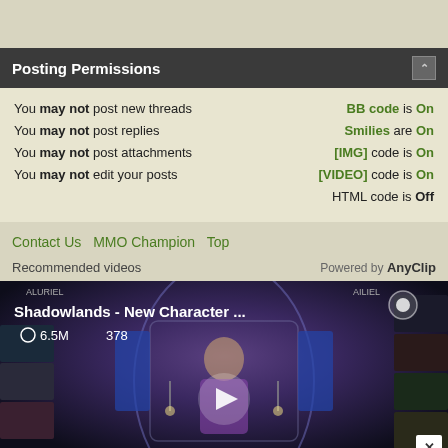Posting Permissions
You may not post new threads
You may not post replies
You may not post attachments
You may not edit your posts
BB code is On
Smilies are On
[IMG] code is On
[VIDEO] code is On
HTML code is Off
Contact Us   MMO Champion   Top
Recommended videos   Powered by AnyClip
[Figure (screenshot): Video thumbnail for Shadowlands - New Character... with 6.5M views and 378 likes, showing a fantasy character scene with a play button overlay]
[Figure (photo): Advertisement banner with makeup/cosmetics images, ULTA Beauty logo, and SHOP NOW button]